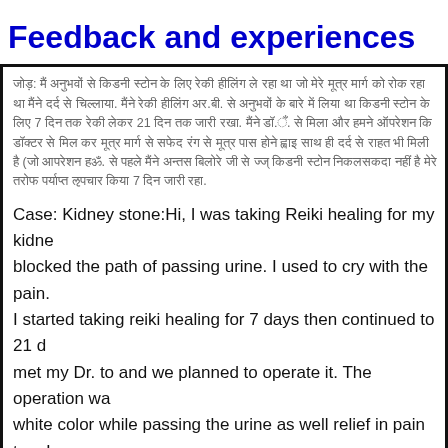Feedback and experiences
Hindi text block (transliterated): Case: Kidney stone feedback in Hindi script describing Reiki healing experience over 7 days and more.
Case: Kidney stone:Hi, I was taking Reiki healing for my kidney stone which blocked the path of passing urine. I used to cry with the pain. I started taking reiki healing for 7 days then continued to 21 days. I met my Dr. to and we planned to operate it. The operation was... white color while passing the urine as well relief in pain too. I... removed. The day arrived when I was ready for operation. My... stone. I just called to Mr. Antas Billorey told about it M... t